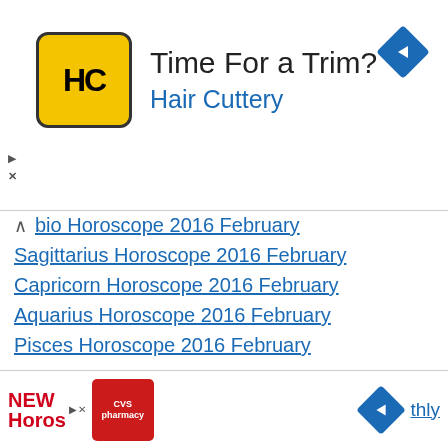[Figure (infographic): Hair Cuttery advertisement banner with yellow logo, 'Time For a Trim?' headline, 'Hair Cuttery' subtext in blue, and blue diamond navigation icon on the right]
...bio Horoscope 2016 February
Sagittarius Horoscope 2016 February
Capricorn Horoscope 2016 February
Aquarius Horoscope 2016 February
Pisces Horoscope 2016 February
See Corresponding Horoscopes:
2016 Taurus Horoscope
2016 Taurus Love Horoscope
2016 Snake Horoscope
2016 Vrishabh Rashifal
Number 6 – Numerology 2016 Horoscope
[Figure (infographic): Bottom advertisement strip with NEW/Horos red text, CVS pharmacy logo, blue diamond navigation icon, and 'thly' text link]